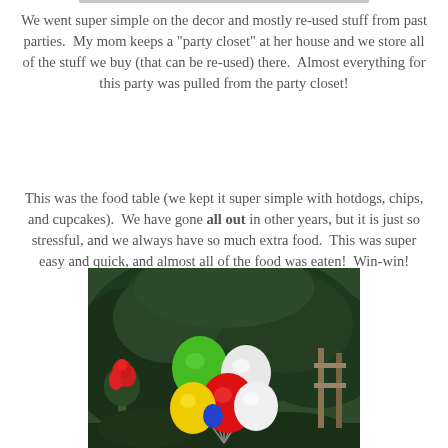We went super simple on the decor and mostly re-used stuff from past parties.  My mom keeps a "party closet" at her house and we store all of the stuff we buy (that can be re-used) there.  Almost everything for this party was pulled from the party closet!
This was the food table (we kept it super simple with hotdogs, chips, and cupcakes).  We have gone all out in other years, but it is just so stressful, and we always have so much extra food.  This was super easy and quick, and almost all of the food was eaten!  Win-win!
[Figure (photo): Outdoor photo showing colorful balloons (green, red, yellow, white) clustered together in front of green trees and foliage with a red flowering plant visible on the left.]